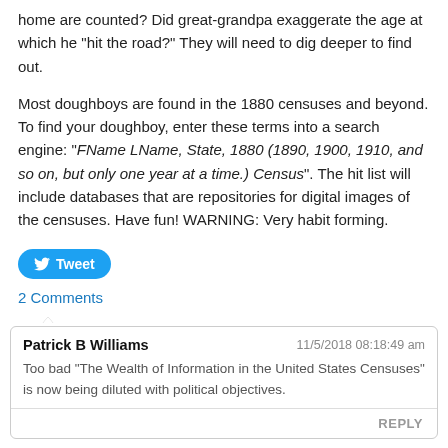home are counted?  Did great-grandpa exaggerate the age at which he "hit the road?"  They will need to dig deeper to find out.
Most doughboys are found in the 1880 censuses and beyond.  To find your doughboy, enter these terms into a search engine:  "FName LName, State, 1880 (1890, 1900, 1910, and so on, but only one year at a time.) Census". The hit list will include databases that are repositories for digital images of the censuses.  Have fun!  WARNING:  Very habit forming.
Tweet
2 Comments
Patrick B Williams — 11/5/2018 08:18:49 am
Too bad "The Wealth of Information in the United States Censuses" is now being diluted with political objectives.
REPLY
Joan → — 11/5/2018 09:20:35 am